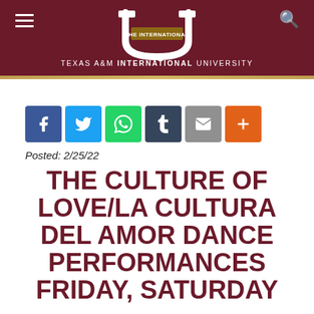Texas A&M International University
[Figure (logo): Texas A&M International University logo — stylized U with 'THE INTERNATIONAL' banner, white on dark maroon background]
Posted: 2/25/22
THE CULTURE OF LOVE/LA CULTURA DEL AMOR DANCE PERFORMANCES FRIDAY, SATURDAY